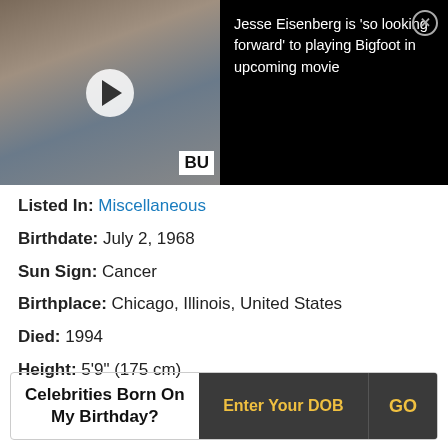[Figure (screenshot): Video thumbnail of Jesse Eisenberg with play button overlay and 'BU' watermark, next to black news headline panel reading: Jesse Eisenberg is 'so looking forward' to playing Bigfoot in upcoming movie, with close (X) button]
Listed In: Miscellaneous
Birthdate: July 2, 1968
Sun Sign: Cancer
Birthplace: Chicago, Illinois, United States
Died: 1994
Height: 5'9" (175 cm)
Celebrities Born On My Birthday? Enter Your DOB GO